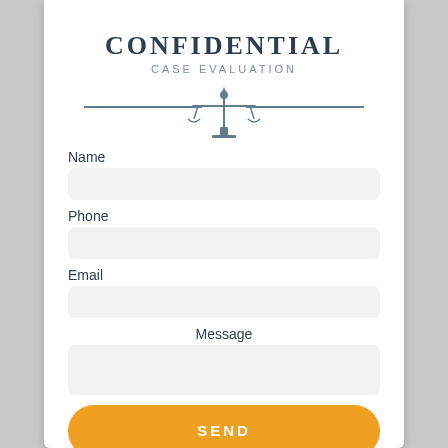CONFIDENTIAL
CASE EVALUATION
[Figure (illustration): Scales of justice icon centered between two horizontal lines forming a decorative divider]
Name
Phone
Email
Message
SEND
[Figure (illustration): Padlock icon at bottom center of the form]